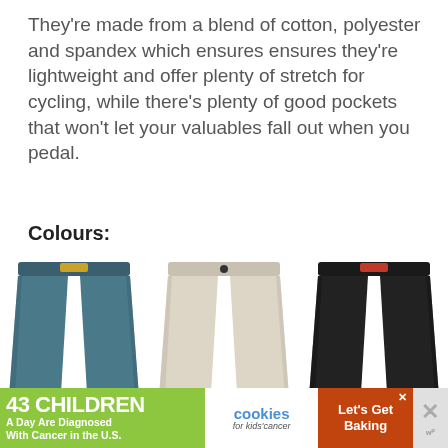They're made from a blend of cotton, polyester and spandex which ensures ensures they're lightweight and offer plenty of stretch for cycling, while there's plenty of good pockets that won't let your valuables fall out when you pedal.
Colours:
[Figure (illustration): Three pairs of slim-fit cycling trousers shown side by side: left in dark navy/teal, center in light beige/cream, right in black. Each has a button/clasp waistband detail.]
[Figure (other): Advertisement banner: '43 CHILDREN A Day Are Diagnosed With Cancer in the U.S.' with cookies for kids' cancer logo and 'Let's Get Baking' call to action on an orange-brown background.]